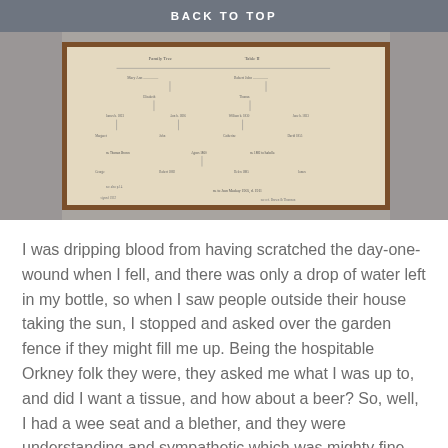BACK TO TOP
[Figure (photo): A framed document or family tree chart hanging on a stone wall, photographed from the front. The frame is wooden (brown), and the document inside appears to be handwritten with a tree or genealogy chart structure. The stone wall is visible on either side of the frame.]
I was dripping blood from having scratched the day-one-wound when I fell, and there was only a drop of water left in my bottle, so when I saw people outside their house taking the sun, I stopped and asked over the garden fence if they might fill me up. Being the hospitable Orkney folk they were, they asked me what I was up to, and did I want a tissue, and how about a beer? So, well, I had a wee seat and a blether, and they were understanding and sympathetic which was mighty fine given the circumstances.